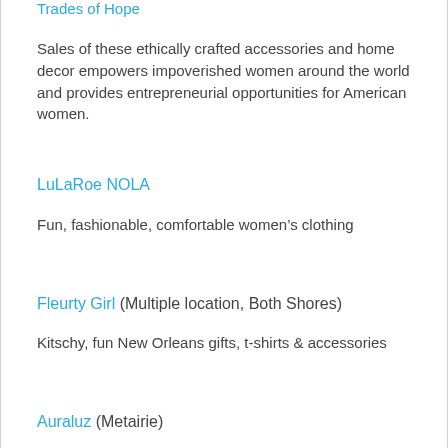Trades of Hope
Sales of these ethically crafted accessories and home decor empowers impoverished women around the world and provides entrepreneurial opportunities for American women.
LuLaRoe NOLA
Fun, fashionable, comfortable women’s clothing
Fleurty Girl (Multiple location, Both Shores)
Kitschy, fun New Orleans gifts, t-shirts & accessories
Auraluz (Metairie)